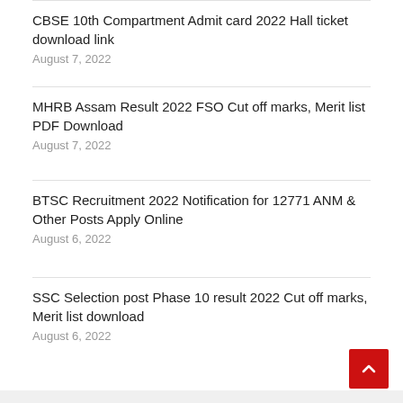CBSE 10th Compartment Admit card 2022 Hall ticket download link
August 7, 2022
MHRB Assam Result 2022 FSO Cut off marks, Merit list PDF Download
August 7, 2022
BTSC Recruitment 2022 Notification for 12771 ANM & Other Posts Apply Online
August 6, 2022
SSC Selection post Phase 10 result 2022 Cut off marks, Merit list download
August 6, 2022